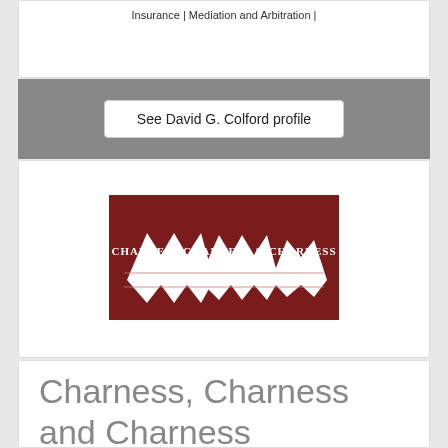Insurance | Mediation and Arbitration |
See David G. Colford profile
[Figure (logo): Charness Charness & Charness Est. 1925 law firm logo — dark red/maroon background with white stylized mountain/wave shapes and firm name text]
Charness, Charness and Charness